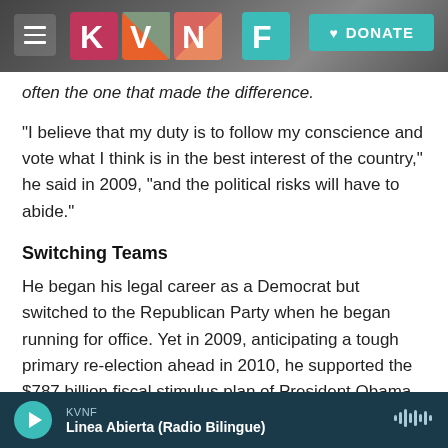KVNF - DONATE
often the one that made the difference.
"I believe that my duty is to follow my conscience and vote what I think is in the best interest of the country," he said in 2009, "and the political risks will have to abide."
Switching Teams
He began his legal career as a Democrat but switched to the Republican Party when he began running for office. Yet in 2009, anticipating a tough primary re-election ahead in 2010, he supported the $787 billion fiscal stimulus plan of President Obama
KVNF Linea Abierta (Radio Bilingue)